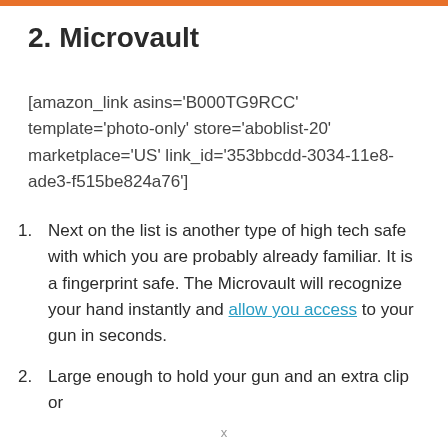2. Microvault
[amazon_link asins='B000TG9RCC' template='photo-only' store='aboblist-20' marketplace='US' link_id='353bbcdd-3034-11e8-ade3-f515be824a76']
Next on the list is another type of high tech safe with which you are probably already familiar. It is a fingerprint safe. The Microvault will recognize your hand instantly and allow you access to your gun in seconds.
Large enough to hold your gun and an extra clip or